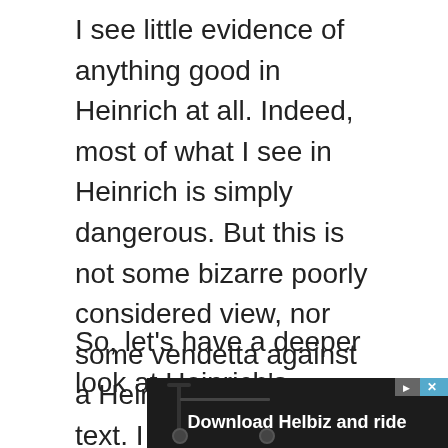I see little evidence of anything good in Heinrich at all. Indeed, most of what I see in Heinrich is simply dangerous. But this is not some bizarre poorly considered view, nor some vendetta against a Heinrich or a safety text. I have researched Heinrich's work extensively and from an SPoR view find nothing of value but endless material that is simply unhelpful in charting any course in safety. The reality of the AIHS BoK validating Heinrich causality says much about the AIHS BoK and its amateurish approach.
So, let's have a deeper look at Heinrich's
[Figure (photo): Advertisement banner showing a scooter in an urban setting with text 'Download Helbiz and ride' and close/ad-choice buttons in top right corner.]